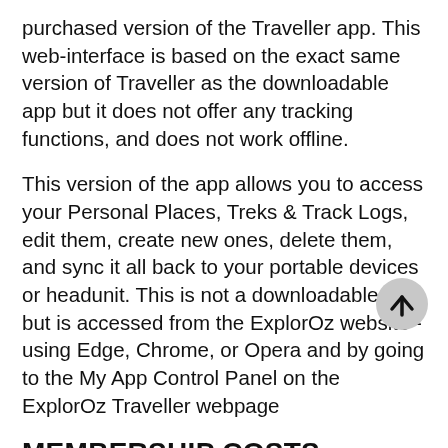purchased version of the Traveller app. This web-interface is based on the exact same version of Traveller as the downloadable app but it does not offer any tracking functions, and does not work offline.
This version of the app allows you to access your Personal Places, Treks & Track Logs, edit them, create new ones, delete them, and sync it all back to your portable devices or headunit. This is not a downloadable app, but is accessed from the ExplorOz website - using Edge, Chrome, or Opera and by going to the My App Control Panel on the ExplorOz Traveller webpage
MEMBERSHIP COSTS
There are 2 Membership options:-